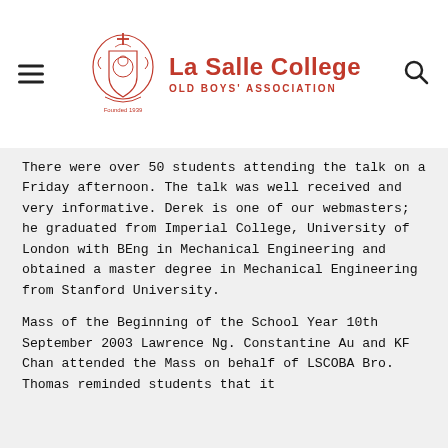[Figure (logo): La Salle College Old Boys' Association logo with crest, hamburger menu icon on left, search icon on right]
There were over 50 students attending the talk on a Friday afternoon. The talk was well received and very informative. Derek is one of our webmasters; he graduated from Imperial College, University of London with BEng in Mechanical Engineering and obtained a master degree in Mechanical Engineering from Stanford University.
Mass of the Beginning of the School Year 10th September 2003
Lawrence Ng. Constantine Au and KF Chan attended the Mass on behalf of LSCOBA Bro. Thomas reminded students that it